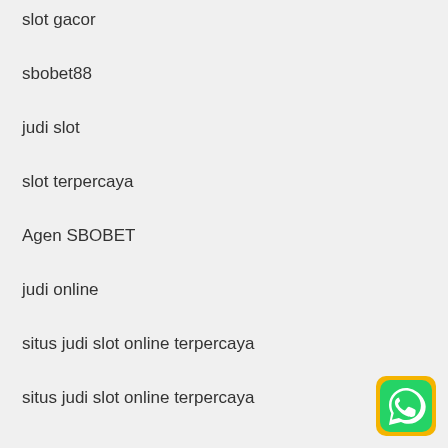slot gacor
sbobet88
judi slot
slot terpercaya
Agen SBOBET
judi online
situs judi slot online terpercaya
situs judi slot online terpercaya
[Figure (logo): WhatsApp icon — green speech bubble with phone on yellow-orange background]